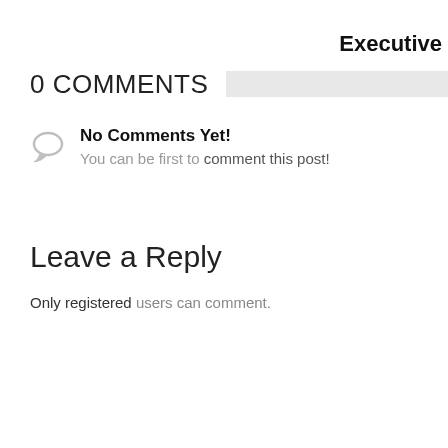Executive
0 COMMENTS
No Comments Yet!
You can be first to comment this post!
Leave a Reply
Only registered users can comment.